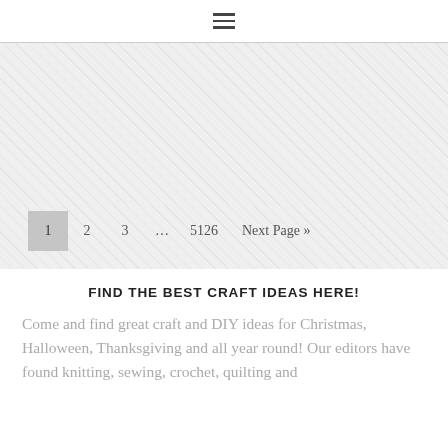≡
[Figure (other): Light gray textured/patterned background area serving as a visual separator or advertisement placeholder]
1  2  3  ...  5126  Next Page »
FIND THE BEST CRAFT IDEAS HERE!
Come and find great craft and DIY ideas for Christmas, Halloween, Thanksgiving and all year round! Our editors have found knitting, sewing, crochet, quilting and